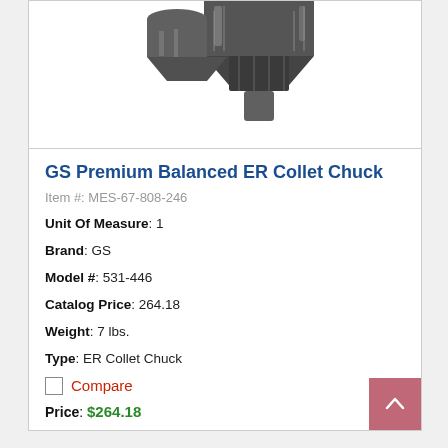[Figure (photo): Partial photo of GS Premium Balanced ER Collet Chuck tool, showing metallic chuck mechanism at top of product card.]
GS Premium Balanced ER Collet Chuck
Item #: MES-67-808-246
Unit Of Measure: 1
Brand: GS
Model #: 531-446
Catalog Price: 264.18
Weight: 7 lbs.
Type: ER Collet Chuck
Compare
Price: $264.18